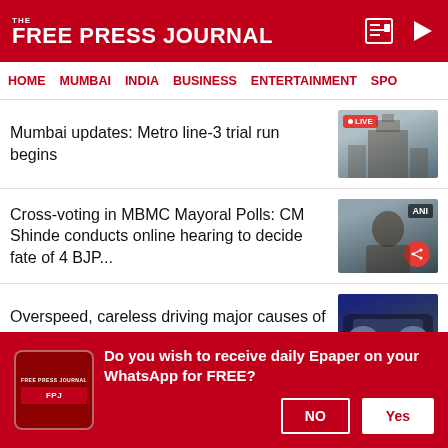THE FREE PRESS JOURNAL
HOME   MUMBAI   INDIA   BUSINESS   ENTERTAINMENT   SPO
Mumbai updates: Metro line-3 trial run begins
[Figure (photo): Live broadcast thumbnail of a building, appears to be a Mumbai landmark]
Cross-voting in MBMC Mayoral Polls: CM Shinde conducts online hearing to decide fate of 4 BJP...
[Figure (photo): ANI video thumbnail showing a man speaking, with share button overlay]
Overspeed, careless driving major causes of road accidents: NCRB report
[Figure (photo): Photo of a dark car front close-up]
NCRB report: Daily wage earners, self-employed, unemployed top categories
[Figure (photo): Photo of people wearing masks]
Do you wish to receive daily Epaper on your WhatsApp for FREE?